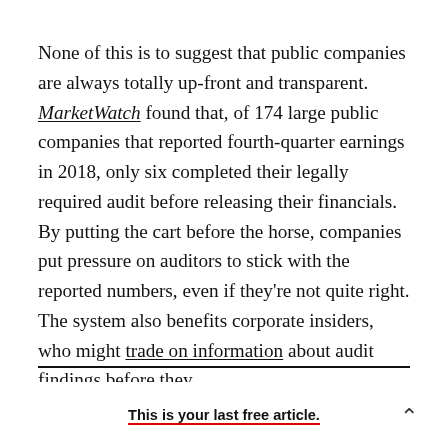None of this is to suggest that public companies are always totally up-front and transparent. MarketWatch found that, of 174 large public companies that reported fourth-quarter earnings in 2018, only six completed their legally required audit before releasing their financials. By putting the cart before the horse, companies put pressure on auditors to stick with the reported numbers, even if they're not quite right. The system also benefits corporate insiders, who might trade on information about audit findings before they
This is your last free article.